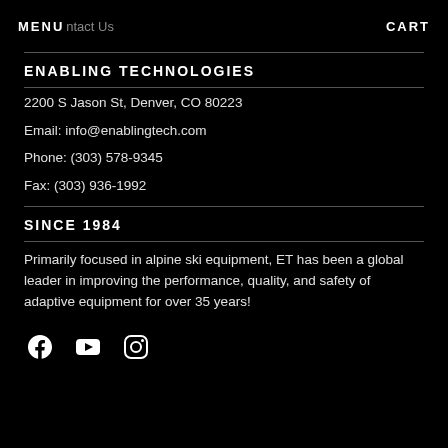MENU  Contact Us  CART
ENABLING TECHNOLOGIES
2200 S Jason St, Denver, CO 80223
Email: info@enablingtech.com
Phone: (303) 578-9345
Fax: (303) 936-1992
SINCE 1984
Primarily focused in alpine ski equipment, ET has been a global leader in improving the performance, quality, and safety of adaptive equipment for over 35 years!
[Figure (other): Social media icons: Facebook, YouTube, Instagram]